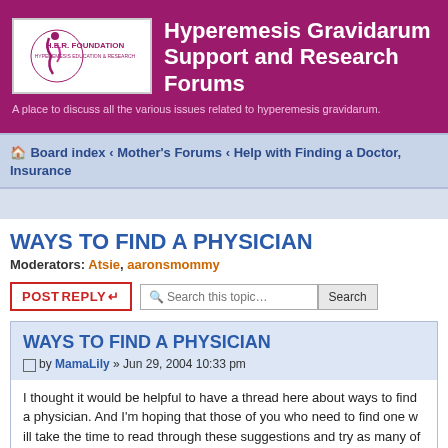Hyperemesis Gravidarum Support and Research Forums — A place to discuss all the various issues related to hyperemesis gravidarum.
Board index ‹ Mother's Forums ‹ Help with Finding a Doctor, Insurance
WAYS TO FIND A PHYSICIAN
Moderators: Atsie, aaronsmommy
POSTREPLY   Search this topic...  Search
WAYS TO FIND A PHYSICIAN
by MamaLily » Jun 29, 2004 10:33 pm
I thought it would be helpful to have a thread here about ways to find a physician. And I'm hoping that those of you who need to find one will take the time to read through these suggestions and try as many of the